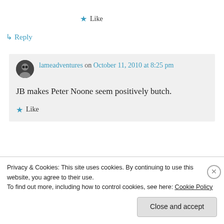★ Like
↳ Reply
lameadventures on October 11, 2010 at 8:25 pm
JB makes Peter Noone seem positively butch.
★ Like
Privacy & Cookies: This site uses cookies. By continuing to use this website, you agree to their use.
To find out more, including how to control cookies, see here: Cookie Policy
Close and accept